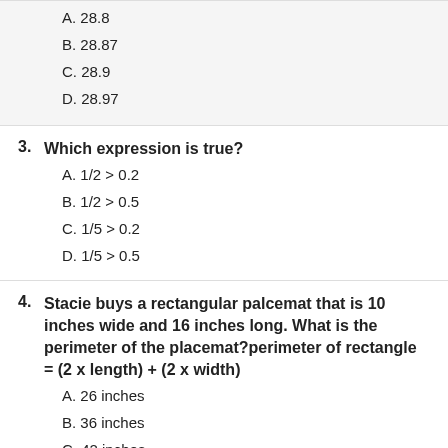A. 28.8
B. 28.87
C. 28.9
D. 28.97
3. Which expression is true?
A. 1/2 > 0.2
B. 1/2 > 0.5
C. 1/5 > 0.2
D. 1/5 > 0.5
4. Stacie buys a rectangular palcemat that is 10 inches wide and 16 inches long. What is the perimeter of the placemat?perimeter of rectangle = (2 x length) + (2 x width)
A. 26 inches
B. 36 inches
C. 42 inches
D. 52 inches